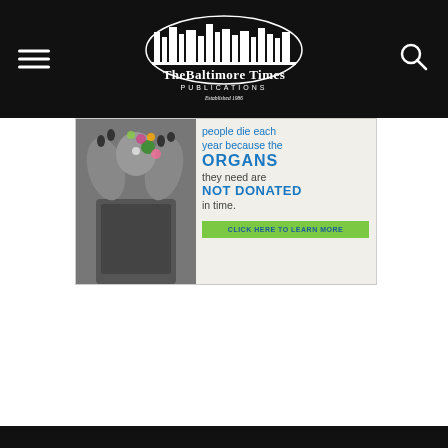The Baltimore Times PUBLICATIONS Established 1986
[Figure (infographic): Organ donation awareness ad. Left side: grayscale photo of person with hands raised near face with colorful flowers. Right side: text on light background reading 'people die each year because the ORGANS they need are NOT DONATED in time.' with a green 'CLICK HERE TO LEARN MORE' button.]